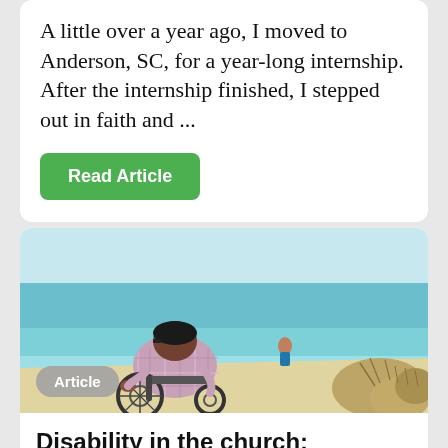A little over a year ago, I moved to Anderson, SC, for a year-long internship. After the internship finished, I stepped out in faith and ...
Read Article
[Figure (photo): Person in a wheelchair viewed from behind, sitting at the edge of a sandy beach, looking out at turquoise ocean water. Another person is standing in the shallow water. Dry scrubby beach grass is visible on the right side.]
Article
Disability in the church: Givers or takers?